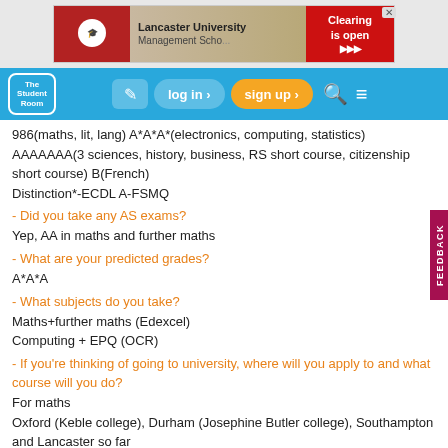[Figure (screenshot): Lancaster University Management School advertisement banner with Clearing is open message]
[Figure (screenshot): The Student Room navigation bar with log in, sign up, search and menu buttons]
986(maths, lit, lang) A*A*A*(electronics, computing, statistics) AAAAAAA(3 sciences, history, business, RS short course, citizenship short course) B(French)
Distinction*-ECDL A-FSMQ
- Did you take any AS exams?
Yep, AA in maths and further maths
- What are your predicted grades?
A*A*A
- What subjects do you take?
Maths+further maths (Edexcel)
Computing + EPQ (OCR)
- If you're thinking of going to university, where will you apply to and what course will you do?
For maths
Oxford (Keble college), Durham (Josephine Butler college), Southampton and Lancaster so far